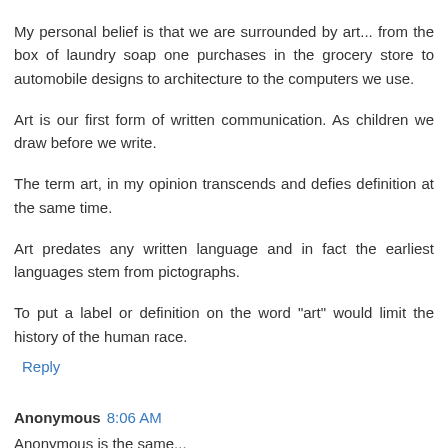My personal belief is that we are surrounded by art... from the box of laundry soap one purchases in the grocery store to automobile designs to architecture to the computers we use.
Art is our first form of written communication. As children we draw before we write.
The term art, in my opinion transcends and defies definition at the same time.
Art predates any written language and in fact the earliest languages stem from pictographs.
To put a label or definition on the word "art" would limit the history of the human race.
Reply
Anonymous 8:06 AM
Anonymous is the same...